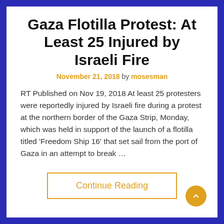Gaza Flotilla Protest: At Least 25 Injured by Israeli Fire
November 21, 2018 by mosesman
RT Published on Nov 19, 2018 At least 25 protesters were reportedly injured by Israeli fire during a protest at the northern border of the Gaza Strip, Monday, which was held in support of the launch of a flotilla titled ‘Freedom Ship 16’ that set sail from the port of Gaza in an attempt to break …
Continue Reading